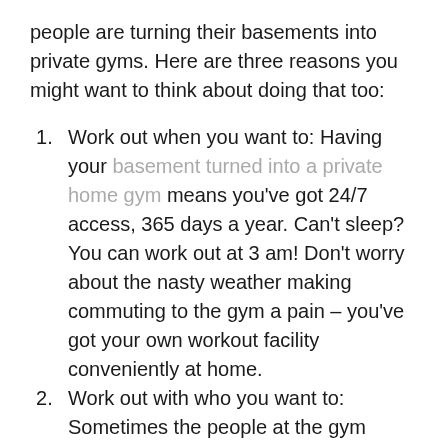people are turning their basements into private gyms. Here are three reasons you might want to think about doing that too:
Work out when you want to: Having your basement turned into a private home gym means you've got 24/7 access, 365 days a year. Can't sleep? You can work out at 3 am! Don't worry about the nasty weather making commuting to the gym a pain – you've got your own workout facility conveniently at home.
Work out with who you want to: Sometimes the people at the gym aren't exactly nice. Skip the cliques and gym rat types who always have